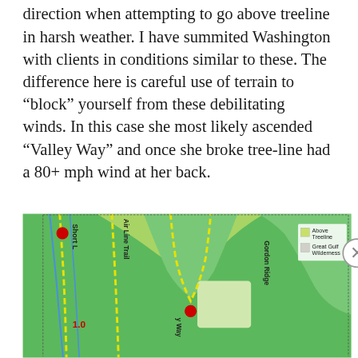direction when attempting to go above treeline in harsh weather. I have summited Washington with clients in conditions similar to these. The difference here is careful use of terrain to “block” yourself from these debilitating winds. In this case she most likely ascended “Valley Way” and once she broke tree-line had a 80+ mph wind at her back.
[Figure (map): Topographic trail map showing Short Line, Air Line Trail, Valley Way, Gordon Ridge trails with red dot markers, Above Treeline (yellow-green) and Great Gulf Wilderness (light gray) legend.]
Advertisements
[Figure (screenshot): Ulta Beauty advertisement banner with makeup/beauty images and SHOP NOW text]